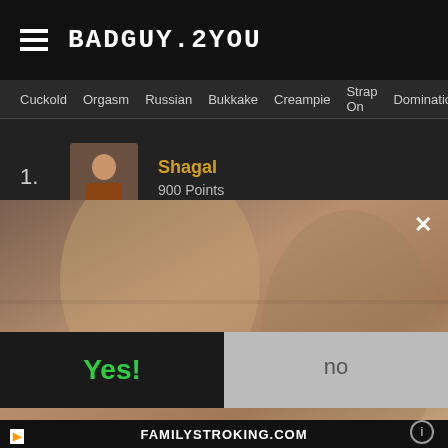BADGUY.2YOU
Cuckold  Orgasm  Russian  Bukkake  Creampie  Strap On  Domination  Shaved  Female
1. Shagal — 900 Points
2. Mojind — 885 Points
[Figure (screenshot): Adult content overlay popup with blurred background image, showing 'Want to see more?' prompt with 'Yes!' (green) and 'no' (gray) buttons, and a close X button. Bottom bar shows FAMILYSTROKING.COM.]